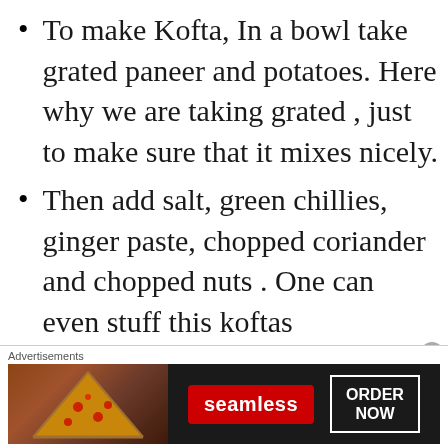To make Kofta, In a bowl take grated paneer and potatoes. Here why we are taking grated , just to make sure that it mixes nicely.
Then add salt, green chillies, ginger paste, chopped coriander and chopped nuts . One can even stuff this koftas
[Figure (other): Advertisement banner for Seamless food ordering service showing pizza image, Seamless logo button, and ORDER NOW button]